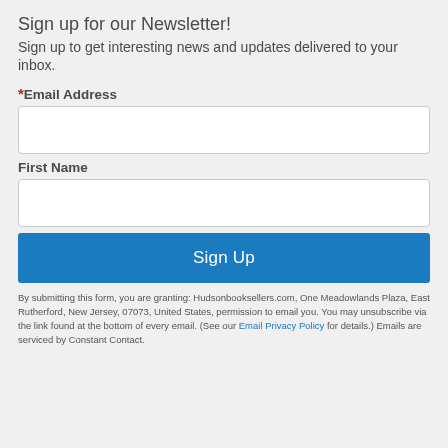Sign up for our Newsletter!
Sign up to get interesting news and updates delivered to your inbox.
*Email Address
First Name
Sign Up
By submitting this form, you are granting: Hudsonbooksellers.com, One Meadowlands Plaza, East Rutherford, New Jersey, 07073, United States, permission to email you. You may unsubscribe via the link found at the bottom of every email. (See our Email Privacy Policy for details.) Emails are serviced by Constant Contact.